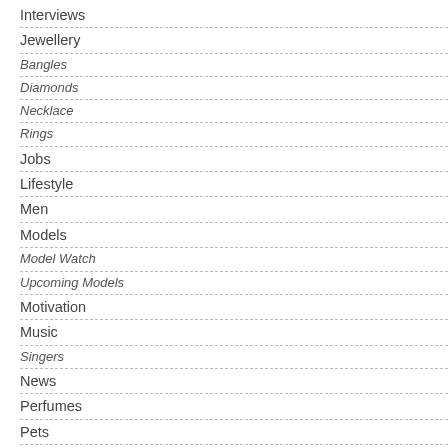Interviews
Jewellery
Bangles
Diamonds
Necklace
Rings
Jobs
Lifestyle
Men
Models
Model Watch
Upcoming Models
Motivation
Music
Singers
News
Perfumes
Pets
Press Release
Promotions
Real Estate
Relationships
Match Making
Reviews
Shoes
Shopping